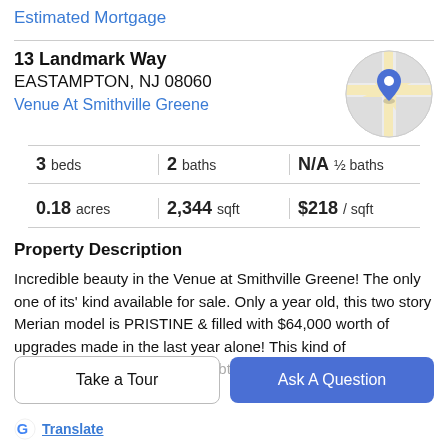Estimated Mortgage
13 Landmark Way
EASTAMPTON, NJ 08060
Venue At Smithville Greene
[Figure (map): Circular map thumbnail showing a location pin on a street map]
| 3 beds | 2 baths | N/A ½ baths |
| 0.18 acres | 2,344 sqft | $218 / sqft |
Property Description
Incredible beauty in the Venue at Smithville Greene! The only one of its' kind available for sale. Only a year old, this two story Merian model is PRISTINE & filled with $64,000 worth of upgrades made in the last year alone! This kind of
value would be impossible to obtain at the sales office at
Take a Tour
Ask A Question
Translate